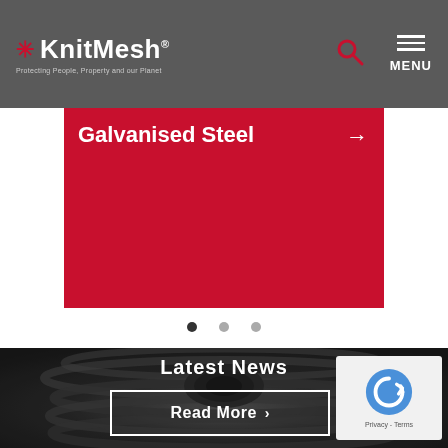KnitMesh — Protecting People, Property and our Planet
Galvanised Steel
[Figure (other): Carousel pagination dots, three dots with first dot active]
[Figure (photo): Dark background photo of coiled knitted wire mesh product]
Latest News
Read More >